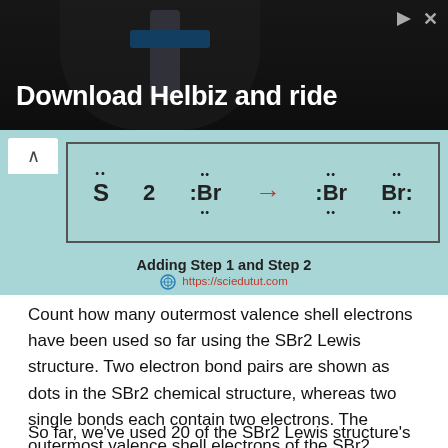[Figure (screenshot): Advertisement banner showing 'Download Helbiz and ride' text over a dark photo of a scooter handlebar]
[Figure (illustration): Chemistry diagram showing Lewis structure for SBr2 with electron dots around S and Br atoms, a red arrow, and 'Br:' symbol. Caption reads 'Adding Step 1 and Step 2' with URL https://sciedutut.com]
Count how many outermost valence shell electrons have been used so far using the SBr2 Lewis structure. Two electron bond pairs are shown as dots in the SBr2 chemical structure, whereas two single bonds each contain two electrons. The outermost valence shell electrons of the SBr2 molecule(bond pairs) are 4 as a result of the calculation. The total valence electron in a sulfur atom is 8.
So far, we've used 20 of the SBr2 Lewis structure's